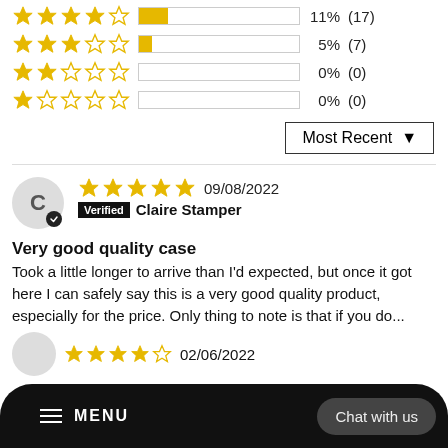[Figure (bar-chart): Rating distribution]
Most Recent ▼
C  ★★★★★ 09/08/2022 Verified Claire Stamper
Very good quality case
Took a little longer to arrive than I'd expected, but once it got here I can safely say this is a very good quality product, especially for the price. Only thing to note is that if you do...
★★★★☆ 02/06/2022